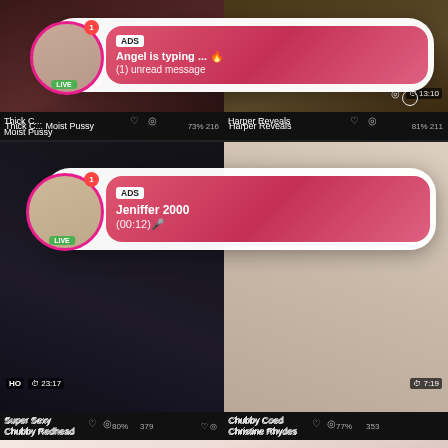[Figure (screenshot): Two-column video grid with adult content thumbnails. Top row shows two blurred thumbnails. An ad popup bubble overlays the top-left area showing a profile avatar with LIVE badge and notification dot, with a pink gradient message box reading ADS / Angel is typing ... 🔥 / (1) unread message. Bottom metadata shows Thick C... Moist Pussy 73% 216 and Harper Reveals 81% 211. Middle row shows another ad popup bubble with avatar and pink gradient message reading ADS / Jeniffer 2000 / (00:12)🎤. Video thumbnails show HO ⏱ 23:17 and ⏱ 7:19 duration tags. Metadata shows Super Sexy Chubby Redhead 80% 379 and Chubby Coed Christine Rhydes 77% 353. Bottom row shows two more cropped thumbnails.]